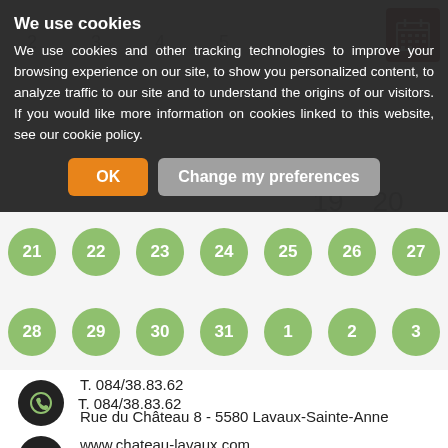We use cookies
We use cookies and other tracking technologies to improve your browsing experience on our site, to show you personalized content, to analyze traffic to our site and to understand the origins of our visitors. If you would like more information on cookies linked to this website, see our cookie policy.
OK | Change my preferences
[Figure (other): Calendar grid with green circles for dates 21-31, 1-3 and contact info section below]
T. 084/38.83.62
Rue du Château 8 - 5580 Lavaux-Sainte-Anne
www.chateau-lavaux.com